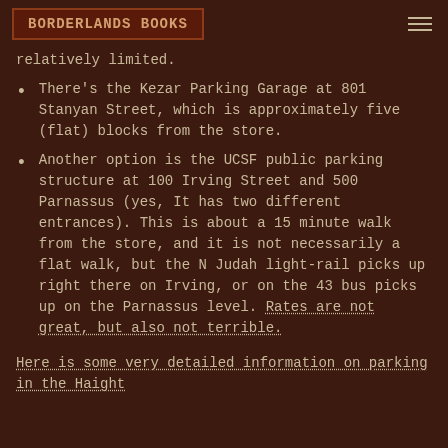BORDERLANDS BOOKS
relatively limited.
There's the Kezar Parking Garage at 801 Stanyan Street, which is approximately five (flat) blocks from the store.
Another option is the UCSF public parking structure at 100 Irving Street and 500 Parnassus (yes, It has two different entrances). This is about a 15 minute walk from the store, and it is not necessarily a flat walk, but the N Judah light-rail picks up right there on Irving, or on the 43 bus picks up on the Parnassus level. Rates are not great, but also not terrible.
Here is some very detailed information on parking in the Haight